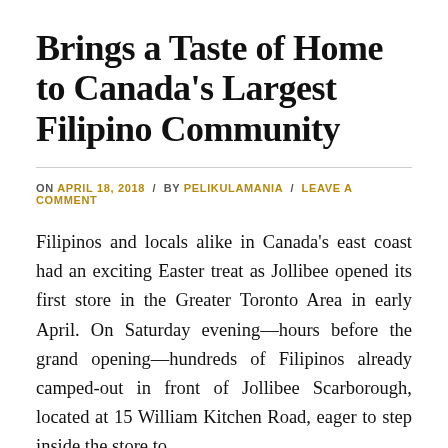Brings a Taste of Home to Canada's Largest Filipino Community
ON APRIL 18, 2018 / BY PELIKULAMANIA / LEAVE A COMMENT
Filipinos and locals alike in Canada's east coast had an exciting Easter treat as Jollibee opened its first store in the Greater Toronto Area in early April. On Saturday evening—hours before the grand opening—hundreds of Filipinos already camped-out in front of Jollibee Scarborough, located at 15 William Kitchen Road, eager to step inside the store to …